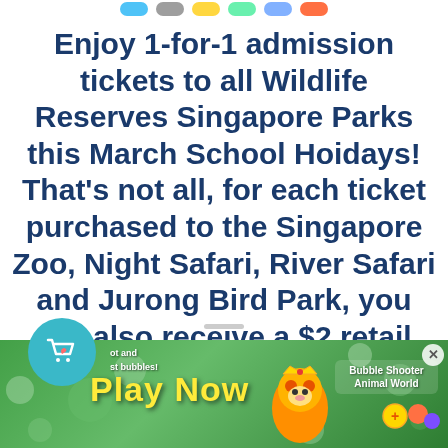[Figure (screenshot): Colored pill/badge icons at the top of the screen (partial)]
Enjoy 1-for-1 admission tickets to all Wildlife Reserves Singapore Parks this March School Hoidays! That's not all, for each ticket purchased to the Singapore Zoo, Night Safari, River Safari and Jurong Bird Park, you will also receive a $2 retail voucher!
[Figure (screenshot): Bottom UI scroll indicator bar]
[Figure (screenshot): Teal circular shopping cart icon with heart, overlapping the bottom advertisement banner]
[Figure (screenshot): Advertisement banner: green bubble shooter game ad with text 'Play Now', mascot tiger, 'Bubble Shooter Animal World' label, and close X button]